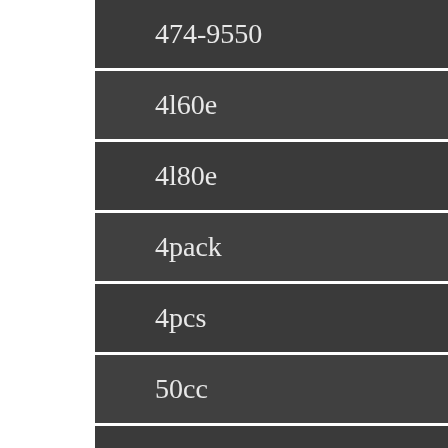474-9550
4l60e
4l80e
4pack
4pcs
50cc
52inch
58-62
5c3z-15a211-ba
61-64
62-67
63-67